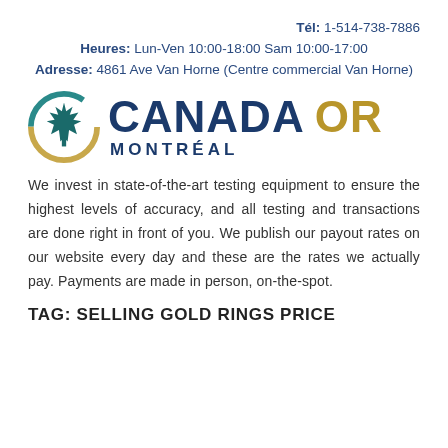Tél: 1-514-738-7886
Heures: Lun-Ven 10:00-18:00 Sam 10:00-17:00
Adresse: 4861 Ave Van Horne (Centre commercial Van Horne)
[Figure (logo): Canada Or Montréal logo with maple leaf circle icon in teal and gold, bold dark blue CANADA text, gold OR text, and MONTRÉAL subtitle]
We invest in state-of-the-art testing equipment to ensure the highest levels of accuracy, and all testing and transactions are done right in front of you. We publish our payout rates on our website every day and these are the rates we actually pay. Payments are made in person, on-the-spot.
TAG: SELLING GOLD RINGS PRICE